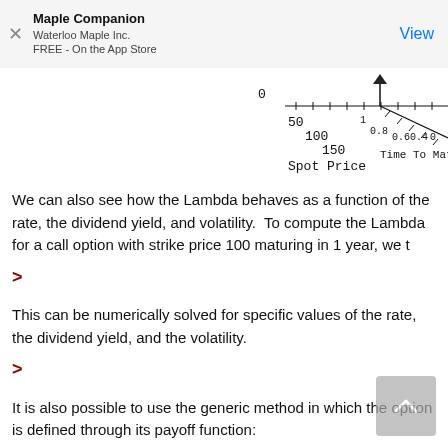Maple Companion
Waterloo Maple Inc.
FREE - On the App Store
[Figure (continuous-plot): 3D surface plot showing axes labeled 'Spot Price' (with values 50, 100, 150) and 'Time To Maturity' (with values 1, 0.8, 0.6, 0.4, 0) and a value 0 on the vertical axis. A dark spike/peak is visible near the top.]
We can also see how the Lambda behaves as a function of the rate, the dividend yield, and volatility.  To compute the Lambda for a call option with strike price 100 maturing in 1 year, we t
>
This can be numerically solved for specific values of the rate, the dividend yield, and the volatility.
>
It is also possible to use the generic method in which the option is defined through its payoff function:
>